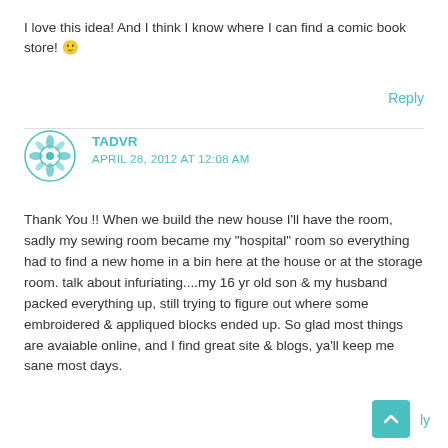I love this idea! And I think I know where I can find a comic book store! 🙂
Reply
TADVR
APRIL 28, 2012 AT 12:08 AM
Thank You !! When we build the new house I'll have the room, sadly my sewing room became my "hospital" room so everything had to find a new home in a bin here at the house or at the storage room. talk about infuriating....my 16 yr old son & my husband packed everything up, still trying to figure out where some embroidered & appliqued blocks ended up. So glad most things are avaiable online, and I find great site & blogs, ya'll keep me sane most days.
Reply